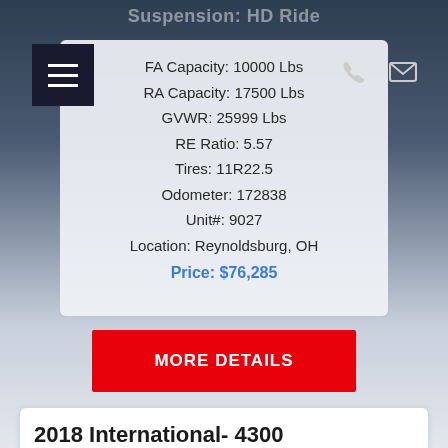Suspension: HD Ride
FA Capacity: 10000 Lbs
RA Capacity: 17500 Lbs
GVWR: 25999 Lbs
RE Ratio: 5.57
Tires: 11R22.5
Odometer: 172838
Unit#: 9027
Location: Reynoldsburg, OH
Price: $76,285
MORE DETAILS
2018 International- 4300
[Figure (photo): Photo of a yellow truck/box truck - 2018 International 4300]